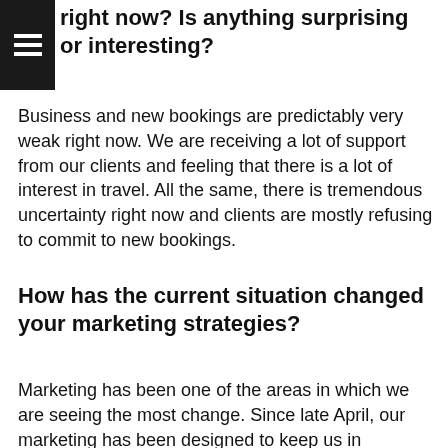right now? Is anything surprising or interesting?
Business and new bookings are predictably very weak right now. We are receiving a lot of support from our clients and feeling that there is a lot of interest in travel. All the same, there is tremendous uncertainty right now and clients are mostly refusing to commit to new bookings.
How has the current situation changed your marketing strategies?
Marketing has been one of the areas in which we are seeing the most change. Since late April, our marketing has been designed to keep us in